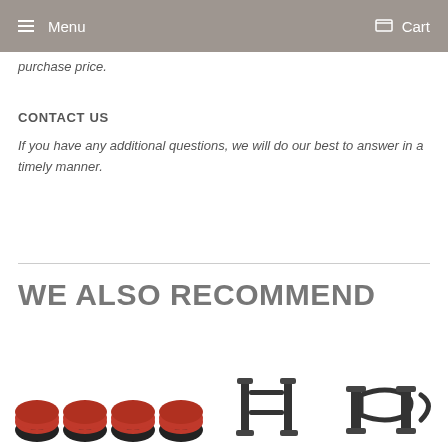Menu  Cart
purchase price.
CONTACT US
If you have any additional questions, we will do our best to answer in a timely manner.
WE ALSO RECOMMEND
[Figure (photo): Red and black wheel hub/spool parts, four units shown in a row]
[Figure (photo): Black plastic RC car body posts/roll cage parts]